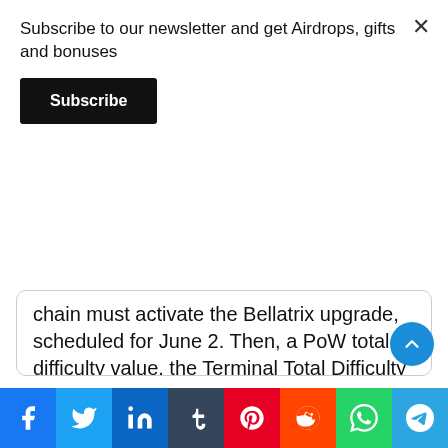Subscribe to our newsletter and get Airdrops, gifts and bonuses
Subscribe
chain must activate the Bellatrix upgrade, scheduled for June 2. Then, a PoW total difficulty value, the Terminal Total Difficulty (TTD) will be chosen to trigger the transition.
8:18 PM · May 30, 2022
195   Reply   Copy link
Read 9 replies